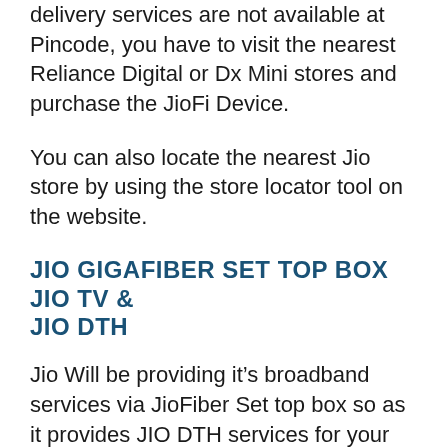delivery services are not available at Pincode, you have to visit the nearest Reliance Digital or Dx Mini stores and purchase the JioFi Device.
You can also locate the nearest Jio store by using the store locator tool on the website.
JIO GIGAFIBER SET TOP BOX JIO TV & JIO DTH
Jio Will be providing it’s broadband services via JioFiber Set top box so as it provides JIO DTH services for your Television as well. Along with that you will also get a jio Fixed Line phone that will offer